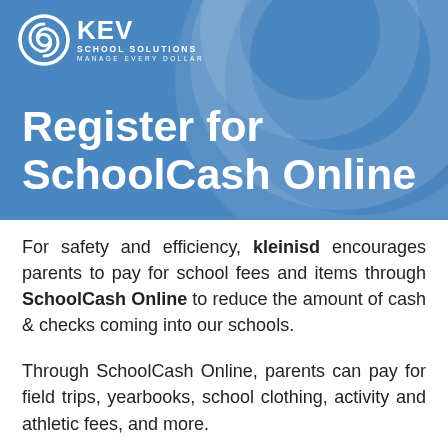[Figure (logo): KEV School Solutions logo with circular icon, text KEV SCHOOL SOLUTIONS MANAGE EVERY DOLLAR in white on blue banner background with decorative circular arcs]
Register for SchoolCash Online
For safety and efficiency, kleinisd encourages parents to pay for school fees and items through SchoolCash Online to reduce the amount of cash & checks coming into our schools.
Through SchoolCash Online, parents can pay for field trips, yearbooks, school clothing, activity and athletic fees, and more.